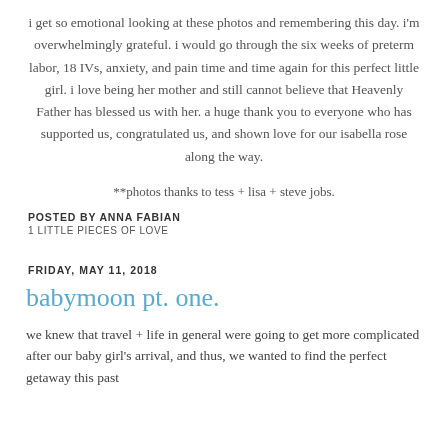i get so emotional looking at these photos and remembering this day. i'm overwhelmingly grateful. i would go through the six weeks of preterm labor, 18 IVs, anxiety, and pain time and time again for this perfect little girl. i love being her mother and still cannot believe that Heavenly Father has blessed us with her. a huge thank you to everyone who has supported us, congratulated us, and shown love for our isabella rose along the way.
**photos thanks to tess + lisa + steve jobs.
POSTED BY ANNA FABIAN
1 LITTLE PIECES OF LOVE
FRIDAY, MAY 11, 2018
babymoon pt. one.
we knew that travel + life in general were going to get more complicated after our baby girl's arrival, and thus, we wanted to find the perfect getaway this past